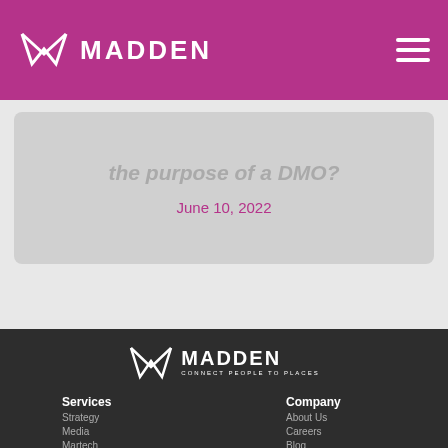MADDEN
the purpose of a DMO?
June 10, 2022
[Figure (logo): Madden logo with fox icon and tagline CONNECT PEOPLE TO PLACES on dark footer background]
Services
Company
Strategy
About Us
Media
Careers
Martech
Blog